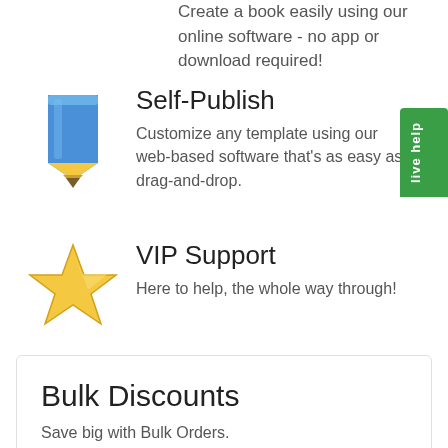Create a book easily using our online software - no app or download required!
[Figure (illustration): Blue pencil icon]
Self-Publish
Customize any template using our web-based software that's as easy as drag-and-drop.
[Figure (illustration): Gold star icon]
VIP Support
Here to help, the whole way through!
Bulk Discounts
Save big with Bulk Orders.